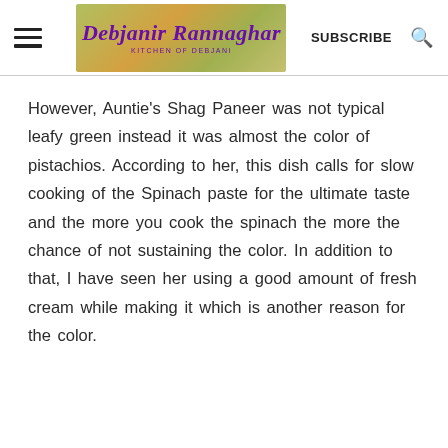Debjanir Rannaghar KITCHEN OF DEBJANI | SUBSCRIBE
However, Auntie's Shag Paneer was not typical leafy green instead it was almost the color of pistachios. According to her, this dish calls for slow cooking of the Spinach paste for the ultimate taste and the more you cook the spinach the more the chance of not sustaining the color. In addition to that, I have seen her using a good amount of fresh cream while making it which is another reason for the color.